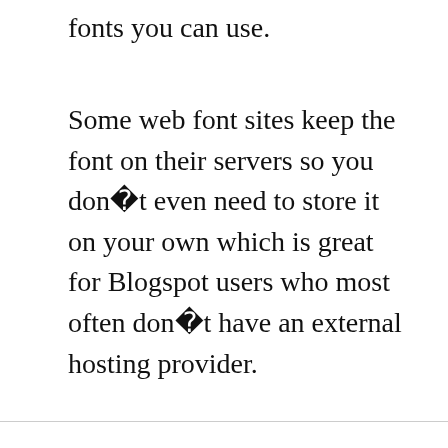fonts you can use.
Some web font sites keep the font on their servers so you donÿt even need to store it on your own which is great for Blogspot users who most often donÿt have an external hosting provider.